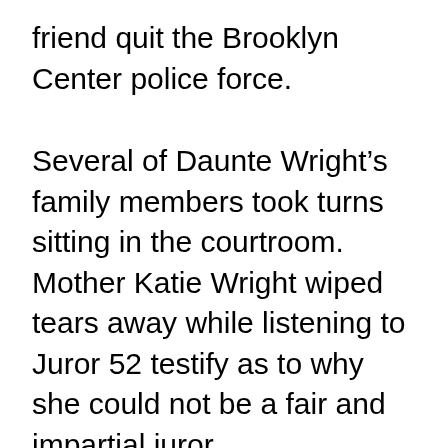friend quit the Brooklyn Center police force.
Several of Daunte Wright’s family members took turns sitting in the courtroom. Mother Katie Wright wiped tears away while listening to Juror 52 testify as to why she could not be a fair and impartial juror.
“The police have murdered my uncle…and they haven’t treated my family right so it’s very hard to put that aside,” she said. “I